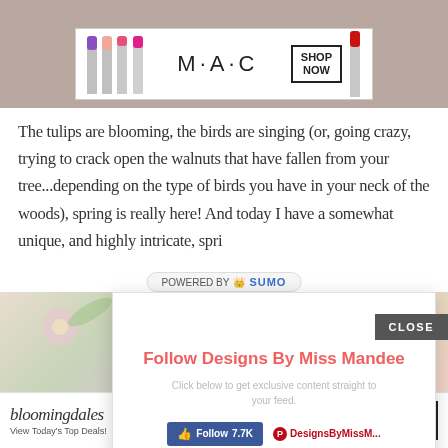[Figure (advertisement): MAC cosmetics ad banner showing colored lipsticks, MAC logo, and SHOP NOW button]
The tulips are blooming, the birds are singing (or, going crazy, trying to crack open the walnuts that have fallen from your tree...depending on the type of birds you have in your neck of the woods), spring is really here! And today I have a somewhat unique, and highly intricate, spri
[Figure (photo): Spring flowers flat lay with pink and purple flowers on white background]
Con...
[Figure (infographic): Follow Designs By Miss Mandee popup overlay with Facebook and Pinterest follow buttons]
[Figure (advertisement): Bloomingdales ad banner showing logo, woman with hat, View Today's Top Deals!, and SHOP NOW button]